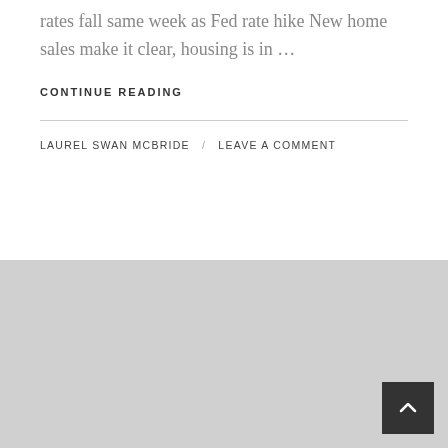rates fall same week as Fed rate hike New home sales make it clear, housing is in …
CONTINUE READING
LAUREL SWAN MCBRIDE / LEAVE A COMMENT
[Figure (other): Gray footer background area with a dark 'back to top' button in the bottom-right corner containing an upward chevron arrow.]